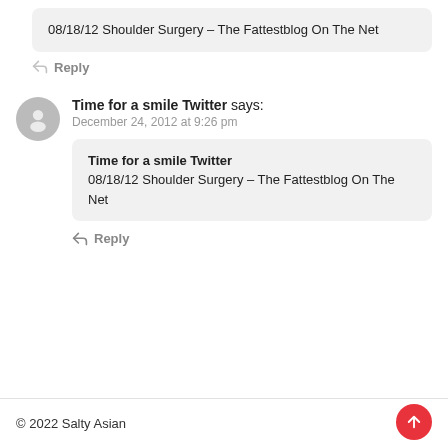08/18/12 Shoulder Surgery – The Fattestblog On The Net
Reply
Time for a smile Twitter says: December 24, 2012 at 9:26 pm
Time for a smile Twitter
08/18/12 Shoulder Surgery – The Fattestblog On The Net
Reply
© 2022 Salty Asian